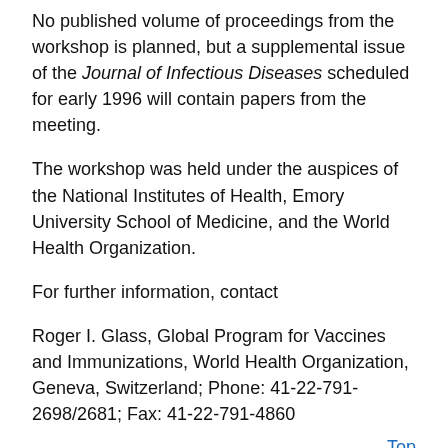No published volume of proceedings from the workshop is planned, but a supplemental issue of the Journal of Infectious Diseases scheduled for early 1996 will contain papers from the meeting.
The workshop was held under the auspices of the National Institutes of Health, Emory University School of Medicine, and the World Health Organization.
For further information, contact
Roger I. Glass, Global Program for Vaccines and Immunizations, World Health Organization, Geneva, Switzerland; Phone: 41-22-791-2698/2681; Fax: 41-22-791-4860
Top